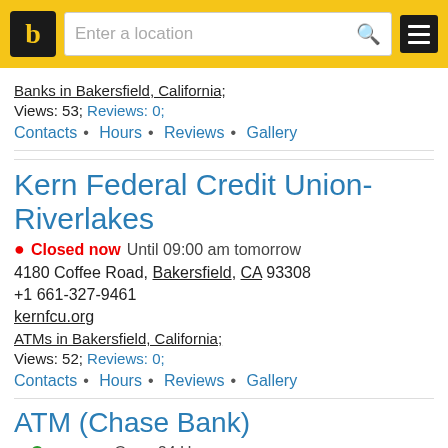b [logo] | Enter a location [search] [menu]
Banks in Bakersfield, California;
Views: 53; Reviews: 0;
Contacts • Hours • Reviews • Gallery
Kern Federal Credit Union- Riverlakes
● Closed now  Until 09:00 am tomorrow
4180 Coffee Road, Bakersfield, CA 93308
+1 661-327-9461
kernfcu.org
ATMs in Bakersfield, California;
Views: 52; Reviews: 0;
Contacts • Hours • Reviews • Gallery
ATM (Chase Bank)
● Open now  Open 24 Hours
5277 Gosford Road, Bakersfield, CA 93313
chase.com